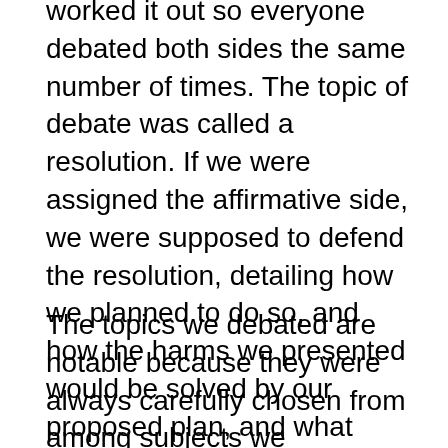worked it out so everyone debated both sides the same number of times. The topic of debate was called a resolution. If we were assigned the affirmative side, we were supposed to defend the resolution, detailing how we planned to do so, and how the harms we presented would be solved by our proposed plan, and what advantages might be produced. If we were assigned the negative side, we were tasked with proving why the affirmative's plan for change had flaws or would lead to disadvantages.
The topics we debated are notable because they were always carefully chosen from among subjects we conservative Christians could all agree on. The idea was that we shouldn't force our opponents to take a stance that wasn't morally defensible. For example, because we all agreed that abortion is evil, making the argument “abortion is evil” would be an